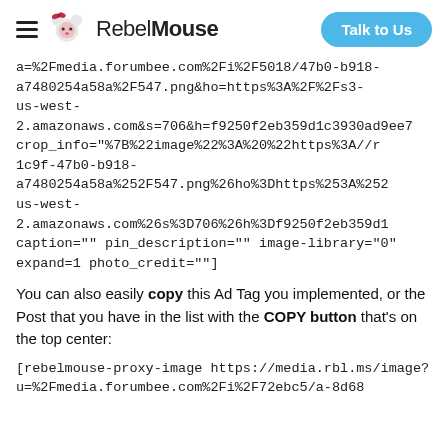RebelMouse | Talk to Us
a=%2Fmedia.forumbee.com%2Fi%2F5018-a7480254a58a%2F547.png&ho=https%3A%2F%2Fs3-us-west-2.amazonaws.com&s=706&h=f9250f2eb359d1c3930ad9ee7 crop_info="%7B%22image%22%3A%20%22https%3A//r 1c9f-47b0-b918-a7480254a58a%252F547.png%26ho%3Dhttps%253A%252 us-west-2.amazonaws.com%26s%3D706%26h%3Df9250f2eb359d1 caption="" pin_description="" image-library="0" expand=1 photo_credit=""]
You can also easily copy this Ad Tag you implemented, or the Post that you have in the list with the COPY button that's on the top center:
[rebelmouse-proxy-image https://media.rbl.ms/image?u=%2Fmedia.forumbee.com%2Fi%2F72ebc5/a-8d68